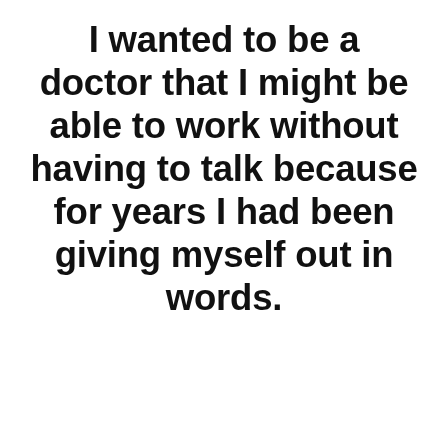I wanted to be a doctor that I might be able to work without having to talk because for years I had been giving myself out in words.